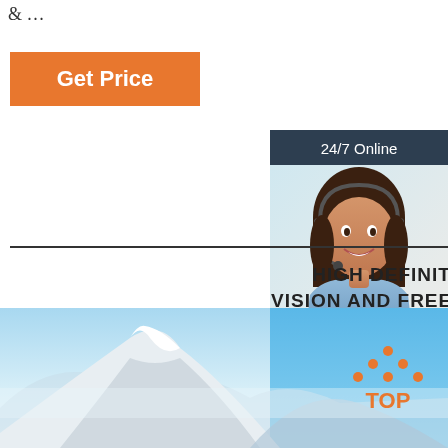& …
Get Price
HIGH DEFINITION VISION AND FREE VISION
Nylon polarizing lens, filter, glare and UV, restore clear
24/7 Online
[Figure (photo): Customer service agent - woman with headset smiling]
Click here for free chat !
QUOTATION
[Figure (photo): Snow-capped mountain (Mount Fuji) with blue sky and hazy background]
[Figure (logo): TOP logo with orange dots arranged in triangle above orange text TOP]